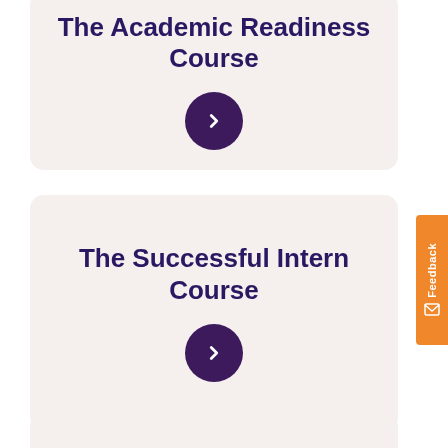The Academic Readiness Course
[Figure (other): Dark purple circular arrow/chevron button pointing right]
The Successful Intern Course
[Figure (other): Dark purple circular arrow/chevron button pointing right]
[Figure (other): Orange feedback tab on the right side with envelope icon]